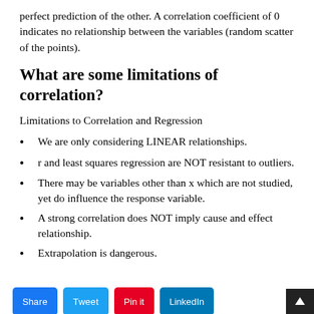perfect prediction of the other. A correlation coefficient of 0 indicates no relationship between the variables (random scatter of the points).
What are some limitations of correlation?
Limitations to Correlation and Regression
We are only considering LINEAR relationships.
r and least squares regression are NOT resistant to outliers.
There may be variables other than x which are not studied, yet do influence the response variable.
A strong correlation does NOT imply cause and effect relationship.
Extrapolation is dangerous.
Share   Tweet   Pin it   LinkedIn